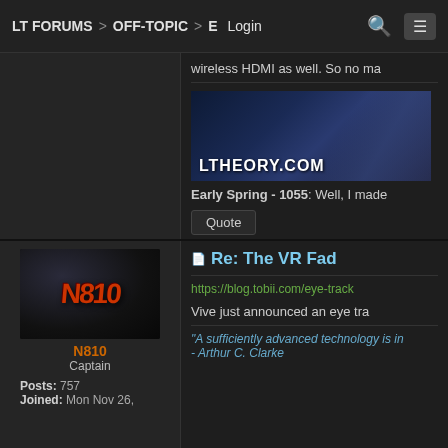LT FORUMS > OFF-TOPIC > E  Login
wireless HDMI as well. So no ma
[Figure (screenshot): LTHEORY.COM banner image with dark blue sci-fi background]
Early Spring - 1055: Well, I made
Quote
[Figure (photo): N810 user avatar with orange styled text logo on dark background]
N810
Captain
Posts: 757
Joined: Mon Nov 26,
Re: The VR Fad
https://blog.tobii.com/eye-track
Vive just announced an eye tra
"A sufficiently advanced technology is in
- Arthur C. Clarke